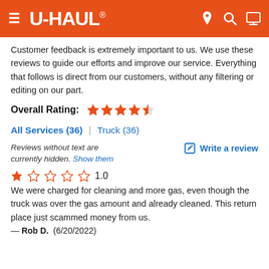[Figure (logo): U-Haul website header bar with orange background, hamburger menu icon, U-HAUL logo, and navigation icons for location, search, and cart]
Customer feedback is extremely important to us. We use these reviews to guide our efforts and improve our service. Everything that follows is direct from our customers, without any filtering or editing on our part.
Overall Rating: ★★★★½
All Services (36)  |  Truck (36)
Reviews without text are currently hidden. Show them
Write a review
★ 1.0
We were charged for cleaning and more gas, even though the truck was over the gas amount and already cleaned. This return place just scammed money from us.
— Rob D.  (6/20/2022)